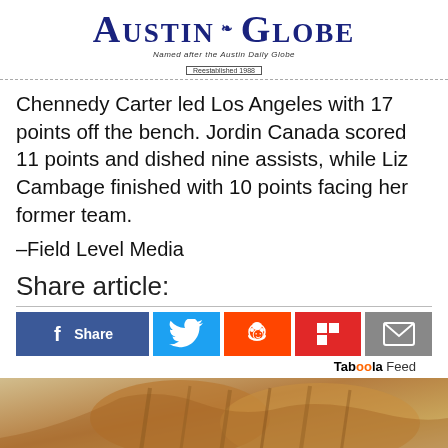Austin Globe — Named after the Austin Daily Globe — Reestablished 1988
Chennedy Carter led Los Angeles with 17 points off the bench. Jordin Canada scored 11 points and dished nine assists, while Liz Cambage finished with 10 points facing her former team.
–Field Level Media
Share article:
[Figure (other): Social share buttons: Facebook Share, Twitter, Reddit, Flipboard, Email]
Taboola Feed
[Figure (photo): Photo of a tabby cat leaping or jumping, orange/brown striped fur, viewed from side]